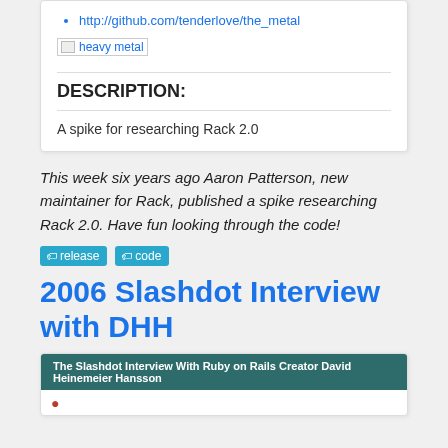http://github.com/tenderlove/the_metal
[Figure (other): Broken image placeholder labeled 'heavy metal']
DESCRIPTION:
A spike for researching Rack 2.0
This week six years ago Aaron Patterson, new maintainer for Rack, published a spike researching Rack 2.0. Have fun looking through the code!
release   code
2006 Slashdot Interview with DHH
The Slashdot Interview With Ruby on Rails Creator David Heinemeier Hansson